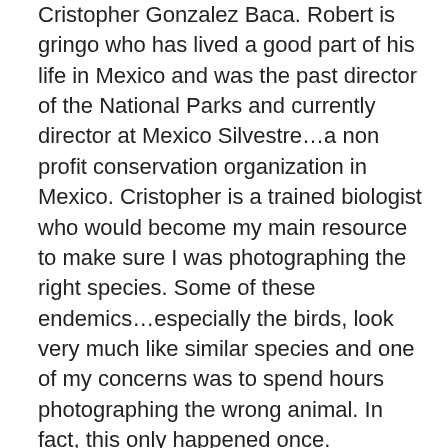Cristopher Gonzalez Baca. Robert is gringo who has lived a good part of his life in Mexico and was the past director of the National Parks and currently director at Mexico Silvestre…a non profit conservation organization in Mexico. Cristopher is a trained biologist who would become my main resource to make sure I was photographing the right species. Some of these endemics…especially the birds, look very much like similar species and one of my concerns was to spend hours photographing the wrong animal. In fact, this only happened once. Cristopher and I were out working in the forest early one morning and we saw what we thought was the Cozumel endemic Vireo…I worked my way into shooting position and range and got some very nice images of a parent bird feeding it's fledgling young. Yahoo…we were very excited to check off another Cozumel endemic! The next day Cristopher conferred with some biologist friends and informed me that we had not photographed the Cozumel endemic Vireo, but had instead photographed the Yucatan Vireo which happens to be